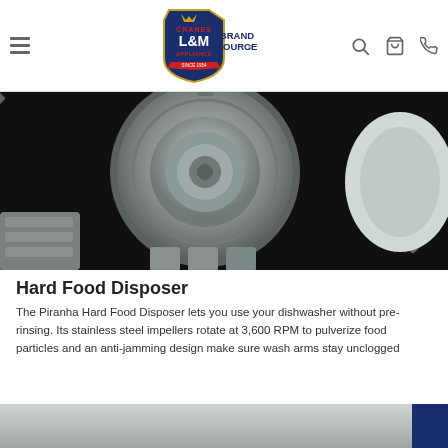[Figure (logo): Cranes L&M Appliance Brand Source logo — shield-shaped badge with crown, L&M text, and Brand Source wordmark]
[Figure (photo): Close-up of a dishwasher hard food disposer mechanism — grey plastic grinding components and impellers against a dark background]
Hard Food Disposer
The Piranha Hard Food Disposer lets you use your dishwasher without pre-rinsing. Its stainless steel impellers rotate at 3,600 RPM to pulverize food particles and an anti-jamming design make sure wash arms stay unclogged
[Figure (photo): Partial view of another dishwasher-related product image at the bottom of the page]